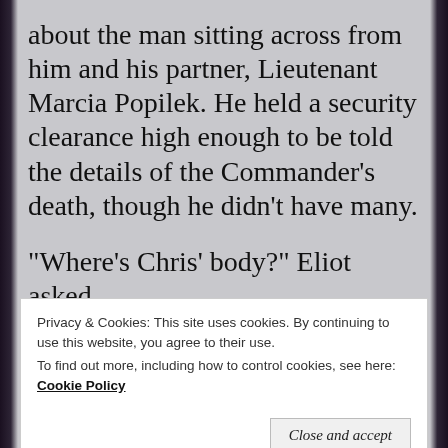about the man sitting across from him and his partner, Lieutenant Marcia Popilek. He held a security clearance high enough to be told the details of the Commander’s death, though he didn’t have many.
“Where’s Chris’ body?” Eliot asked.
“NCIS morgue since it’s believed he was murdered.”
Privacy & Cookies: This site uses cookies. By continuing to use this website, you agree to their use.
To find out more, including how to control cookies, see here: Cookie Policy
“But…”